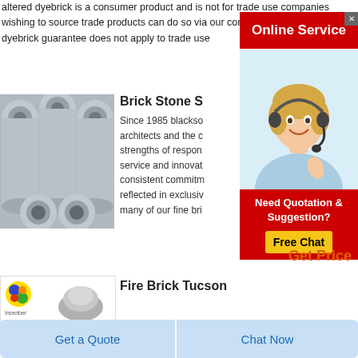altered dyebrick is a consumer product and is not for trade use companies wishing to source trade products can do so via our commercial pages the dyebrick guarantee does not apply to trade use
[Figure (screenshot): Red Online Service button advertisement with close X button]
[Figure (photo): Customer service representative woman wearing headset, smiling]
[Figure (screenshot): Red Need Quotation & Suggestion? ad with yellow Free Chat button]
[Figure (photo): Stack of grey cylindrical pipes/rollers product image]
Brick Stone S
Since 1985 blackso architects and the c strengths of respon service and innovat consistent commitm reflected in exclusiv many of our fine bri
Get Price
[Figure (photo): Small product thumbnail with logo badge]
Fire Brick Tucson
Get a Quote
Chat Now